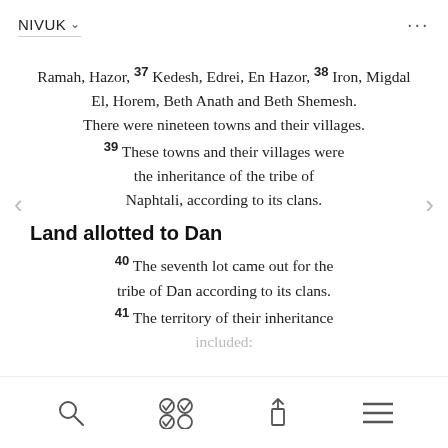NIVUK
Ramah, Hazor, 37 Kedesh, Edrei, En Hazor, 38 Iron, Migdal El, Horem, Beth Anath and Beth Shemesh. There were nineteen towns and their villages. 39 These towns and their villages were the inheritance of the tribe of Naphtali, according to its clans.
Land allotted to Dan
40 The seventh lot came out for the tribe of Dan according to its clans. 41 The territory of their inheritance included:
search, reading plans, share, menu